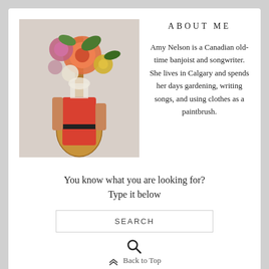[Figure (photo): Person holding a bouquet of colorful flowers in front of their face while holding a guitar]
ABOUT ME
Amy Nelson is a Canadian old-time banjoist and songwriter. She lives in Calgary and spends her days gardening, writing songs, and using clothes as a paintbrush.
You know what you are looking for? Type it below
SEARCH
Back to Top